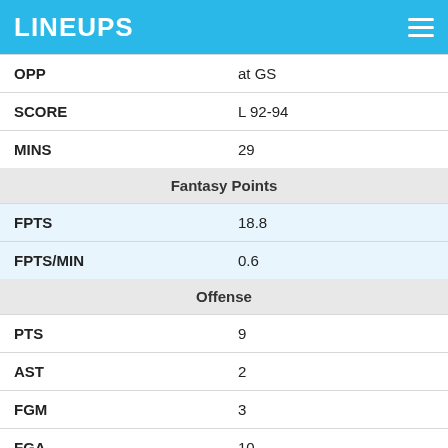LINEUPS
| OPP | at GS |
| SCORE | L 92-94 |
| MINS | 29 |
| Fantasy Points |  |
| FPTS | 18.8 |
| FPTS/MIN | 0.6 |
| Offense |  |
| PTS | 9 |
| AST | 2 |
| FGM | 3 |
| FGA | 10 |
| FG% | 30% |